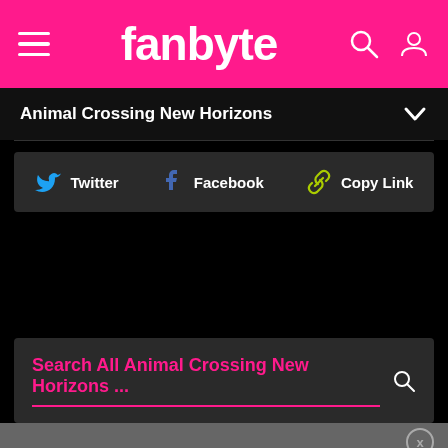fanbyte
Animal Crossing New Horizons
[Figure (screenshot): Social share bar with Twitter, Facebook, and Copy Link buttons on dark background]
[Figure (screenshot): Search box with placeholder text 'Search All Animal Crossing New Horizons ...' with pink underline and search icon]